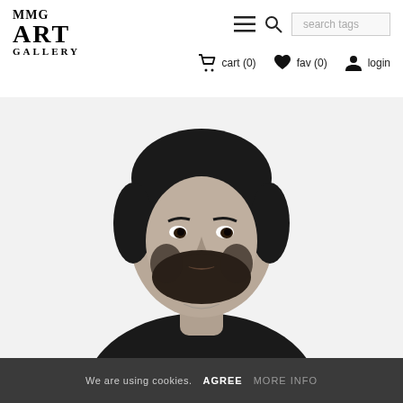MMG ART GALLERY — navigation header with logo, hamburger menu, search bar, cart (0), fav (0), login
[Figure (photo): Black and white portrait photograph of a bearded man with short dark hair wearing a black t-shirt, looking directly at the camera against a white background]
We are using cookies.  AGREE  MORE INFO